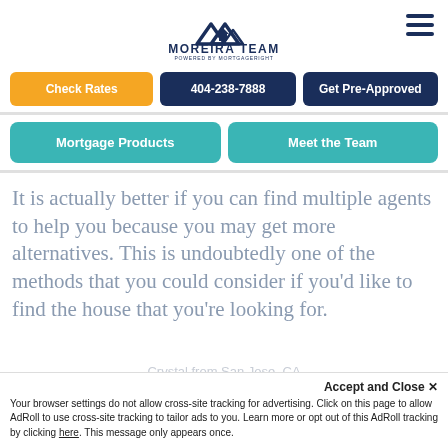[Figure (logo): Moreira Team logo with house/mountain icon and text 'MOREIRA TEAM POWERED BY MORTGAGERIGHT']
Check Rates
404-238-7888
Get Pre-Approved
Mortgage Products
Meet the Team
It is actually better if you can find multiple agents to help you because you may get more alternatives. This is undoubtedly one of the methods that you could consider if you'd like to find the house that you're looking for.
Crystal from San Jose, CA
Accept and Close ×
Your browser settings do not allow cross-site tracking for advertising. Click on this page to allow AdRoll to use cross-site tracking to tailor ads to you. Learn more or opt out of this AdRoll tracking by clicking here. This message only appears once.